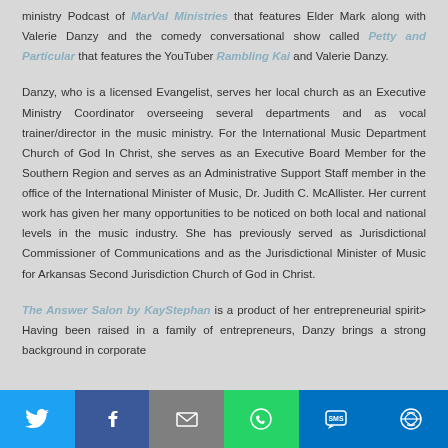ministry Podcast of MarVal Ministries that features Elder Mark along with Valerie Danzy and the comedy conversational show called Petty and Particular that features the YouTuber Rambling Kai and Valerie Danzy.
Danzy, who is a licensed Evangelist, serves her local church as an Executive Ministry Coordinator overseeing several departments and as vocal trainer/director in the music ministry. For the International Music Department Church of God In Christ, she serves as an Executive Board Member for the Southern Region and serves as an Administrative Support Staff member in the office of the International Minister of Music, Dr. Judith C. McAllister. Her current work has given her many opportunities to be noticed on both local and national levels in the music industry. She has previously served as Jurisdictional Commissioner of Communications and as the Jurisdictional Minister of Music for Arkansas Second Jurisdiction Church of God in Christ.
The Answer Salon by KayStephan is a product of her entrepreneurial spirit> Having been raised in a family of entrepreneurs, Danzy brings a strong background in corporate
[Figure (infographic): Social sharing bar with icons for Twitter, Facebook, Email, WhatsApp, SMS, and More (circular arrow icon)]